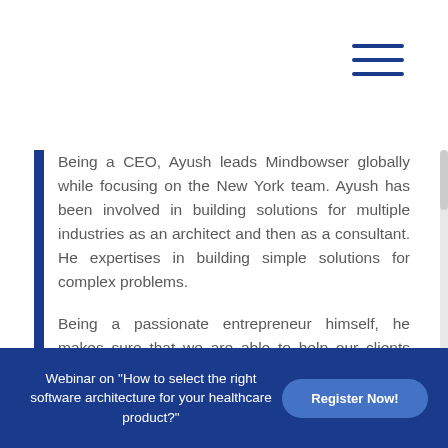[Figure (other): Hamburger menu icon with three horizontal dark blue lines, top right corner]
Being a CEO, Ayush leads Mindbowser globally while focusing on the New York team. Ayush has been involved in building solutions for multiple industries as an architect and then as a consultant. He expertises in building simple solutions for complex problems.
Being a passionate entrepreneur himself, he makes sure that we are able to help our clients build their vision from scratch. He believes in
Webinar on “How to select the right software architecture for your healthcare product?”
Register Now!